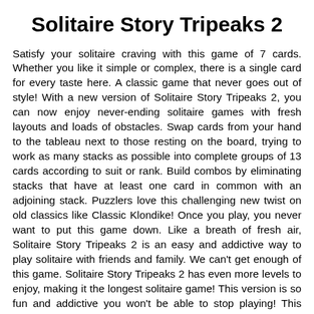Solitaire Story Tripeaks 2
Satisfy your solitaire craving with this game of 7 cards. Whether you like it simple or complex, there is a single card for every taste here. A classic game that never goes out of style! With a new version of Solitaire Story Tripeaks 2, you can now enjoy never-ending solitaire games with fresh layouts and loads of obstacles. Swap cards from your hand to the tableau next to those resting on the board, trying to work as many stacks as possible into complete groups of 13 cards according to suit or rank. Build combos by eliminating stacks that have at least one card in common with an adjoining stack. Puzzlers love this challenging new twist on old classics like Classic Klondike! Once you play, you never want to put this game down. Like a breath of fresh air, Solitaire Story Tripeaks 2 is an easy and addictive way to play solitaire with friends and family. We can't get enough of this game. Solitaire Story Tripeaks 2 has even more levels to enjoy, making it the longest solitaire game! This version is so fun and addictive you won't be able to stop playing! This amazing game is like nothing you've ever seen. Challenging and exasperating, yet satisfying and gratifying, you'll find new ways to play with old favorites as new suits are introduced. There's always something more happening on the Story Tripeaks 2 solitaire card style!